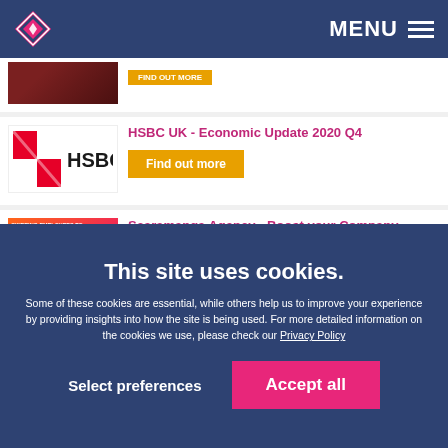MENU
[Figure (other): Partial thumbnail image of a dark/red background with an orange tag partially visible]
HSBC UK - Economic Update 2020 Q4
[Figure (logo): HSBC UK logo with red X symbol and HSBC U text]
Find out more
[Figure (other): Scaramanga Agency promotional image with orange-pink gradient background, LinkedIn presence text]
Scaramanga Agency - Boost your Company LinkedIn Presence
Find out more
This site uses cookies.
Some of these cookies are essential, while others help us to improve your experience by providing insights into how the site is being used. For more detailed information on the cookies we use, please check our Privacy Policy
Select preferences
Accept all